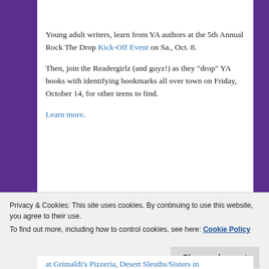Young adult writers, learn from YA authors at the 5th Annual Rock The Drop Kick-Off Event on Sa., Oct. 8.
Then, join the Readergirlz (and guyz!) as they "drop" YA books with identifying bookmarks all over town on Friday, October 14, for other teens to find.
Learn more.
Sa., Oct. 15 and W., Oct. 19: “Key Editing Tips to Wow A Publisher”
My presentation explaining how to avoid the key writing issues I consistently change in manuscripts I edit.
Privacy & Cookies: This site uses cookies. By continuing to use this website, you agree to their use. To find out more, including how to control cookies, see here: Cookie Policy
at Grimaldi’s Pizzeria, Desert Sleuths/Sisters in